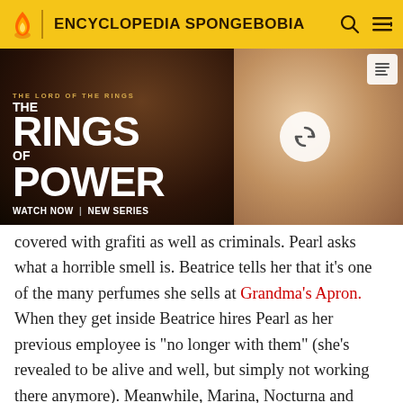ENCYCLOPEDIA SPONGEBOBIA
[Figure (photo): Advertisement banner for 'The Lord of the Rings: The Rings of Power' — WATCH NOW | NEW SERIES. Left side shows dark fantasy warrior image with title text; right side shows blonde woman with a refresh/reload button overlay.]
covered with grafiti as well as criminals. Pearl asks what a horrible smell is. Beatrice tells her that it's one of the many perfumes she sells at Grandma's Apron. When they get inside Beatrice hires Pearl as her previous employee is "no longer with them" (she's revealed to be alive and well, but simply not working there anymore). Meanwhile, Marina, Nocturna and Nixie are sitting at a table, waiting for Pearl. Nocturna asks if Pearl got a job. Pearl tells them that she works at Grandma's Apron. Marina laughs and asks if she's really serious as Nocturna says that the store is for old people. Nixie remarks that old people are